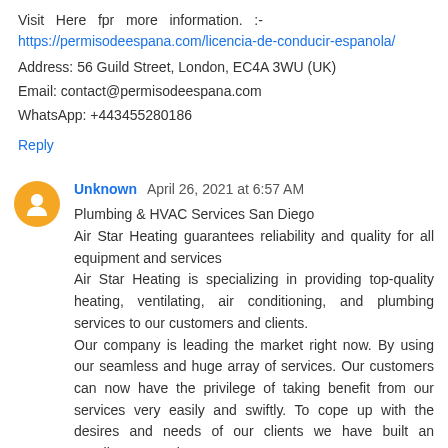Visit Here fpr more information. :- https://permisodeespana.com/licencia-de-conducir-espanola/
Address: 56 Guild Street, London, EC4A 3WU (UK)
Email: contact@permisodeespana.com
WhatsApp: +443455280186
Reply
Unknown April 26, 2021 at 6:57 AM
Plumbing & HVAC Services San Diego
Air Star Heating guarantees reliability and quality for all equipment and services
Air Star Heating is specializing in providing top-quality heating, ventilating, air conditioning, and plumbing services to our customers and clients.
Our company is leading the market right now. By using our seamless and huge array of services. Our customers can now have the privilege of taking benefit from our services very easily and swiftly. To cope up with the desires and needs of our clients we have built an excellent reputation.